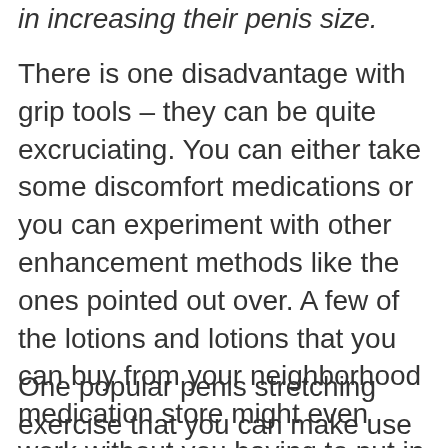in increasing their penis size.
There is one disadvantage with grip tools – they can be quite excruciating. You can either take some discomfort medications or you can experiment with other enhancement methods like the ones pointed out over. A few of the lotions and lotions that you can buy from your neighborhood medication store might even work without you having to put in excessive initiative. Just remember that if something sounds like it might be as well agonizing for you, after that it most likely is.
One popular penis stretching exercise that you can make use of on your own is the telling. Jelqing is a very effective technique